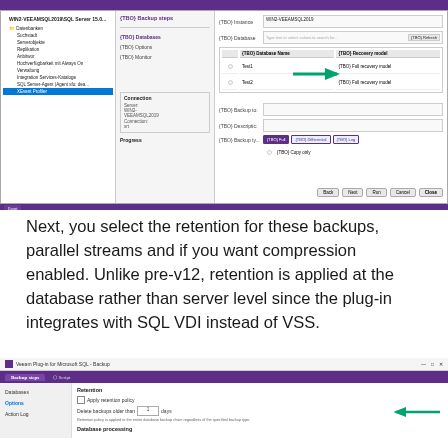[Figure (screenshot): SQL Server Management Studio screenshot showing backup configuration dialog with database selection (Test1, Test2) and backup type options. A green arrow points to the database list.]
Next, you select the retention for these backups, parallel streams and if you want compression enabled. Unlike pre-v12, retention is applied at the database rather than server level since the plug-in integrates with SQL VDI instead of VSS.
[Figure (screenshot): Veeam Plug-in for Microsoft SQL - Backup dialog showing Backup steps panel, with Options tab selected showing Retention section. 'Delete backups older than 1 days' field highlighted with green arrow. Note: 'Retention policy is applied to the entire database backup chain regardless of the specified backup type.' Database processing section visible at bottom.]